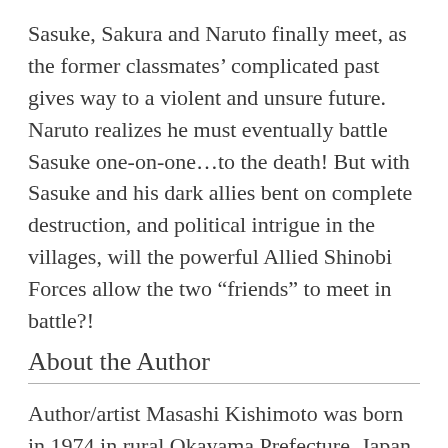Sasuke, Sakura and Naruto finally meet, as the former classmates' complicated past gives way to a violent and unsure future. Naruto realizes he must eventually battle Sasuke one-on-one…to the death! But with Sasuke and his dark allies bent on complete destruction, and political intrigue in the villages, will the powerful Allied Shinobi Forces allow the two "friends" to meet in battle?!
About the Author
Author/artist Masashi Kishimoto was born in 1974 in rural Okayama Prefecture, Japan. Like many kids, he was first inspired to become a manga artist in elementary school when he read